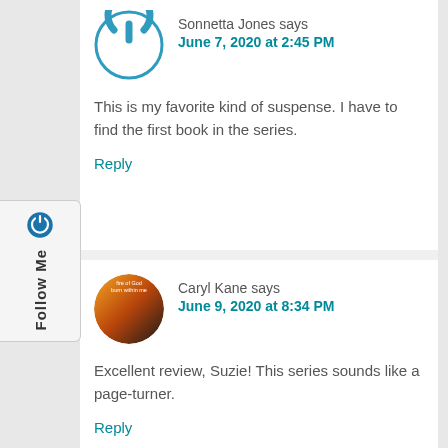[Figure (illustration): Blue circular power button icon avatar for Sonnetta Jones]
Sonnetta Jones says
June 7, 2020 at 2:45 PM
This is my favorite kind of suspense. I have to find the first book in the series.
Reply
[Figure (photo): Circular photo avatar for Caryl Kane showing fire-themed book cover image with text 'fire of God burn within me']
Caryl Kane says
June 9, 2020 at 8:34 PM
Excellent review, Suzie! This series sounds like a page-turner.
Reply